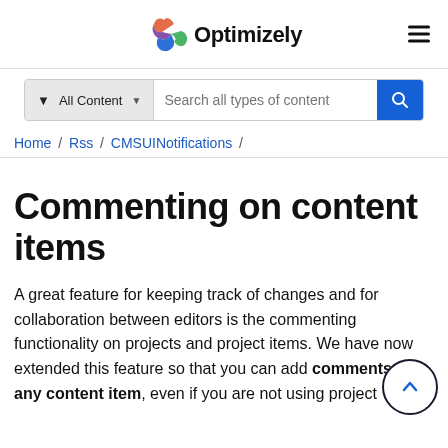Optimizely
All Content  Search all types of content
Home / Rss / CMSUINotifications /
Commenting on content items
A great feature for keeping track of changes and for collaboration between editors is the commenting functionality on projects and project items. We have now extended this feature so that you can add comments on any content item, even if you are not using project